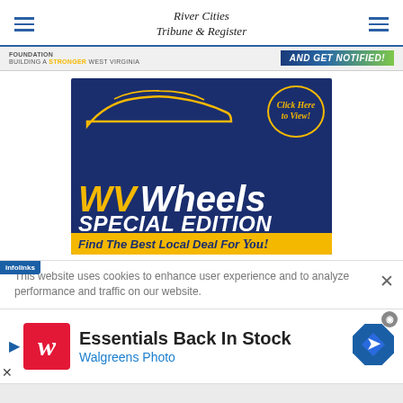River Cities Tribune & Register
[Figure (screenshot): Partial banner strip showing 'FOUNDATION BUILDING A STRONGER WEST VIRGINIA' on left and 'AND GET NOTIFIED!' on right with yellow/green gradient]
[Figure (advertisement): WV Wheels Special Edition advertisement on dark blue background. Features car silhouette, 'Click Here to View!' bubble, 'WV Wheels SPECIAL EDITION' text, 'Find The Best Local Deal For You!' tagline]
This website uses cookies to enhance user experience and to analyze performance and traffic on our website.
[Figure (advertisement): Walgreens Photo ad: 'Essentials Back In Stock' headline, Walgreens Photo subtext, red Walgreens W logo, blue navigation diamond icon on right]
[Figure (screenshot): Bottom gray bar]